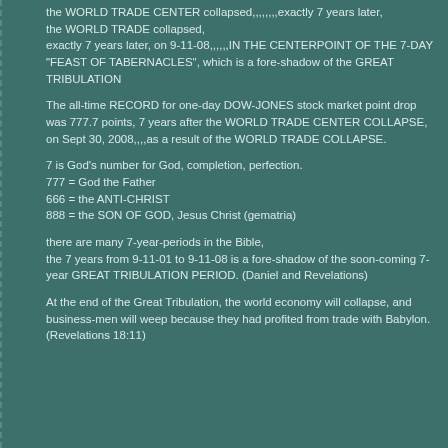the WORLD TRADE CENTER collapsed,,,,,,,,exactly 7 years later, the WORLD TRADE collapsed, exactly 7 years later, on 9-11-08,,,,,,IN THE CENTERPOINT OF THE 7-DAY "FEAST OF TABERNACLES", which is a fore-shadow of the GREAT TRIBULATION
The all-time RECORD for one-day DOW-JONES stock market point drop was 777.7 points, 7 years after the WORLD TRADE CENTER COLLAPSE, on Sept 30, 2008,,,,as a result of the WORLD TRADE COLLAPSE.
7 is God's number for God, completion, perfection.
777 = God the Father
666 = the ANTI-CHRIST
888 = the SON OF GOD, Jesus Christ (gematria)
there are many 7-year-periods in the Bible, the 7 years from 9-11-01 to 9-11-08 is a fore-shadow of the soon-coming 7-year GREAT TRIBULATION PERIOD. (Daniel and Revelations)
At the end of the Great Tribulation, the world economy will collapse, and business-men will weep because they had profited from trade with Babylon. (Revelations 18:11)